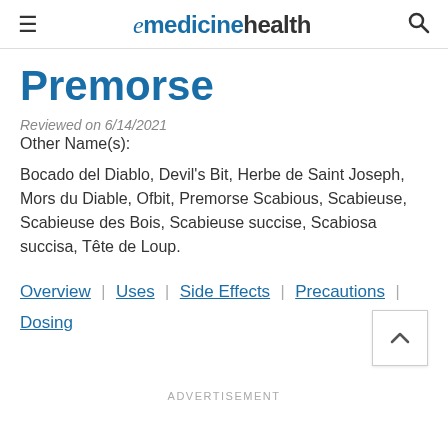emedicinehealth
Premorse
Reviewed on 6/14/2021
Other Name(s):
Bocado del Diablo, Devil's Bit, Herbe de Saint Joseph, Mors du Diable, Ofbit, Premorse Scabious, Scabieuse, Scabieuse des Bois, Scabieuse succise, Scabiosa succisa, Tête de Loup.
Overview | Uses | Side Effects | Precautions | Dosing
ADVERTISEMENT